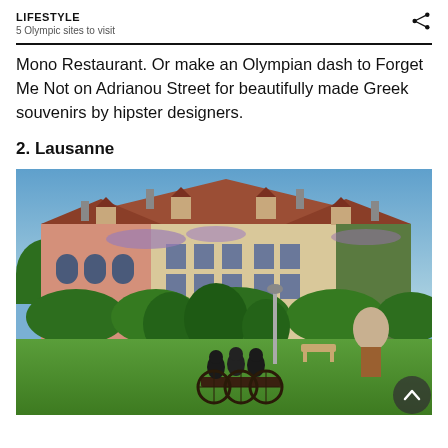LIFESTYLE
5 Olympic sites to visit
Mono Restaurant. Or make an Olympian dash to Forget Me Not on Adrianou Street for beautifully made Greek souvenirs by hipster designers.
2. Lausanne
[Figure (photo): Exterior of a grand villa or museum building with a terracotta tile roof and cream/pink facade with climbing plants. In the foreground is a manicured garden with sculpted topiary hedges, green lawn, and a bronze sculpture of cyclists on bicycles. A stone sculpture head is visible on the right. Blue sky in the background.]